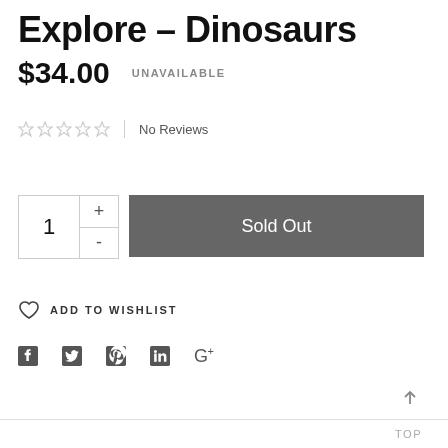Explore – Dinosaurs
$34.00   UNAVAILABLE
No Reviews
1
Sold Out
ADD TO WISHLIST
[Figure (infographic): Social sharing icons: Facebook, Twitter, Pinterest, LinkedIn, Google+]
TOP